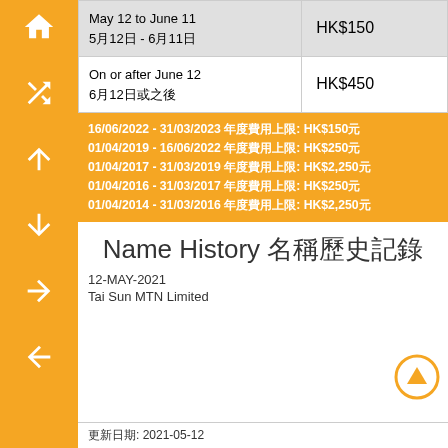| Period | Amount |
| --- | --- |
| May 12 to June 11
5月12日 - 6月11日 | HK$150 |
| On or after June 12
6月12日或之後 | HK$450 |
16/06/2022 - 31/03/2023 年度費用上限: HK$150元
01/04/2019 - 16/06/2022 年度費用上限: HK$250元
01/04/2017 - 31/03/2019 年度費用上限: HK$2,250元
01/04/2016 - 31/03/2017 年度費用上限: HK$250元
01/04/2014 - 31/03/2016 年度費用上限: HK$2,250元
Name History 名稱歷史記錄
12-MAY-2021
Tai Sun MTN Limited
更新日期: 2021-05-12